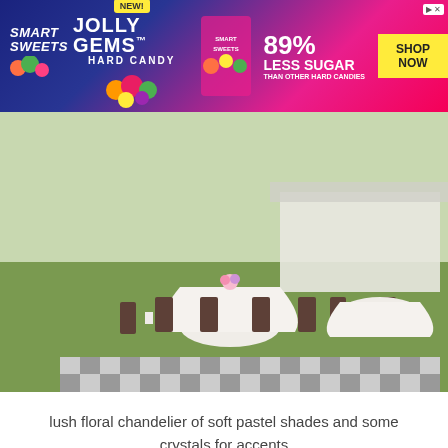[Figure (photo): Advertisement banner for Smart Sweets Jolly Gems Hard Candy - blue and pink background with candy graphics, 89% Less Sugar claim and Shop Now button]
[Figure (photo): Outdoor wedding venue with chiavari chairs and white-draped circular tables on a green lawn, with a black and white checkered dance floor in the foreground]
lush floral chandelier of soft pastel shades and some crystals for accents
[Figure (photo): Interior of a white tent or venue ceiling with a hoop floral chandelier decorated with peach/blush roses hanging in center, with black speaker stands visible on sides]